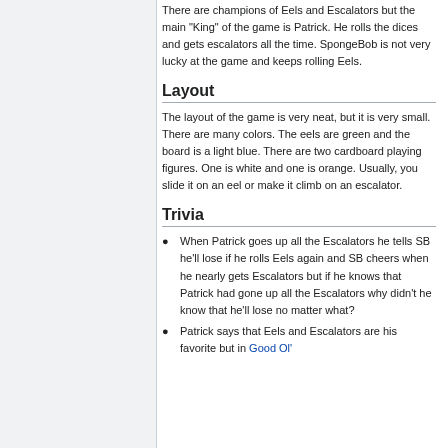There are champions of Eels and Escalators but the main "King" of the game is Patrick. He rolls the dices and gets escalators all the time. SpongeBob is not very lucky at the game and keeps rolling Eels.
Layout
The layout of the game is very neat, but it is very small. There are many colors. The eels are green and the board is a light blue. There are two cardboard playing figures. One is white and one is orange. Usually, you slide it on an eel or make it climb on an escalator.
Trivia
When Patrick goes up all the Escalators he tells SB he'll lose if he rolls Eels again and SB cheers when he nearly gets Escalators but if he knows that Patrick had gone up all the Escalators why didn't he know that he'll lose no matter what?
Patrick says that Eels and Escalators are his favorite but in Good Ol'